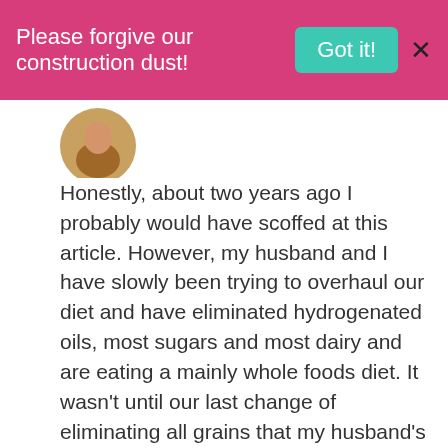Please forgive our construction dust! Got it! X
[Figure (photo): Partial circular avatar photo of a person, cropped at top]
Honestly, about two years ago I probably would have scoffed at this article. However, my husband and I have slowly been trying to overhaul our diet and have eliminated hydrogenated oils, most sugars and most dairy and are eating a mainly whole foods diet. It wasn't until our last change of eliminating all grains that my husband's exercise-induced asthma almost completely went away. He never could make it through a workout before without using his inhaler and hasn't had to use it in almost two